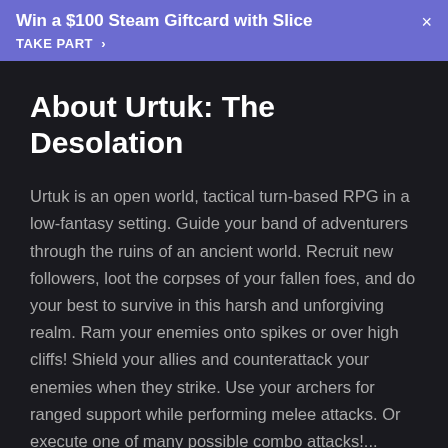Win a $100 Steam Giftcard with Slice
TAKE PART >
About Urtuk: The Desolation
Urtuk is an open world, tactical turn-based RPG in a low-fantasy setting. Guide your band of adventurers through the ruins of an ancient world. Recruit new followers, loot the corpses of your fallen foes, and do your best to survive in this harsh and unforgiving realm. Ram your enemies onto spikes or over high cliffs! Shield your allies and counterattack your enemies when they strike. Use your archers for ranged support while performing melee attacks. Or execute one of many possible combo attacks!...
Read more >